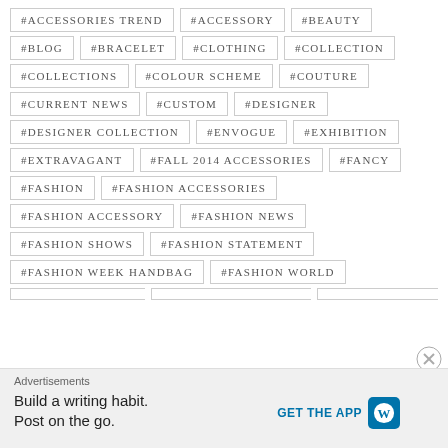#ACCESSORIES TREND
#ACCESSORY
#BEAUTY
#BLOG
#BRACELET
#CLOTHING
#COLLECTION
#COLLECTIONS
#COLOUR SCHEME
#COUTURE
#CURRENT NEWS
#CUSTOM
#DESIGNER
#DESIGNER COLLECTION
#ENVOGUE
#EXHIBITION
#EXTRAVAGANT
#FALL 2014 ACCESSORIES
#FANCY
#FASHION
#FASHION ACCESSORIES
#FASHION ACCESSORY
#FASHION NEWS
#FASHION SHOWS
#FASHION STATEMENT
#FASHION WEEK HANDBAG
#FASHION WORLD
Advertisements
Build a writing habit. Post on the go.
GET THE APP